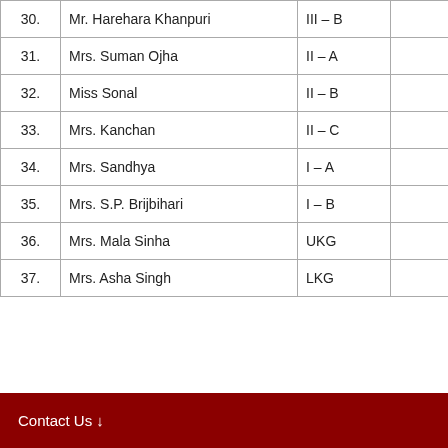| No. | Name | Class |  |
| --- | --- | --- | --- |
| 30. | Mr. Harehara Khanpuri | III – B |  |
| 31. | Mrs. Suman Ojha | II – A |  |
| 32. | Miss Sonal | II – B |  |
| 33. | Mrs. Kanchan | II – C |  |
| 34. | Mrs. Sandhya | I – A |  |
| 35. | Mrs. S.P. Brijbihari | I – B |  |
| 36. | Mrs. Mala Sinha | UKG |  |
| 37. | Mrs. Asha Singh | LKG |  |
Contact Us ↓